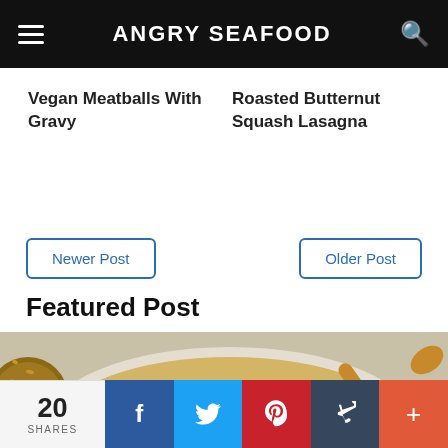ANGRY SEAFOOD
Vegan Meatballs With Gravy
Roasted Butternut Squash Lasagna
Newer Post
Older Post
Featured Post
[Figure (photo): A white speckled bowl filled with noodle soup with chickpeas and greens, a wooden spoon resting inside, partially obscured sesame ball on the left edge]
20 SHARES
f (Facebook share button)
Twitter share button
Pinterest share button
Tumblr share button
+ more share options